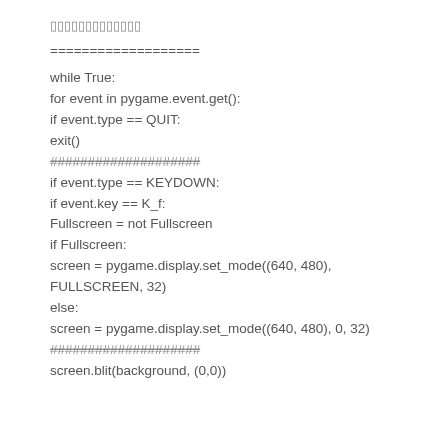▯▯▯▯▯▯▯▯▯▯▯▯▯
===================
while True:
for event in pygame.event.get():
if event.type == QUIT:
exit()
####################
if event.type == KEYDOWN:
if event.key == K_f:
Fullscreen = not Fullscreen
if Fullscreen:
screen = pygame.display.set_mode((640, 480),
FULLSCREEN, 32)
else:
screen = pygame.display.set_mode((640, 480), 0, 32)
####################
screen.blit(background, (0,0))